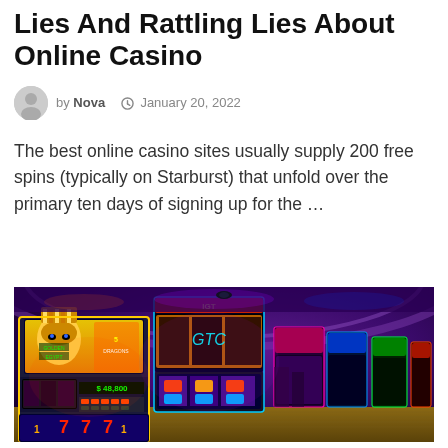Lies And Rattling Lies About Online Casino
by Nova  January 20, 2022
The best online casino sites usually supply 200 free spins (typically on Starburst) that unfold over the primary ten days of signing up for the …
[Figure (photo): Wide-angle photo of a casino floor showing multiple colorful slot machines including Golden Egypt and other games, with purple ambient lighting in the background.]